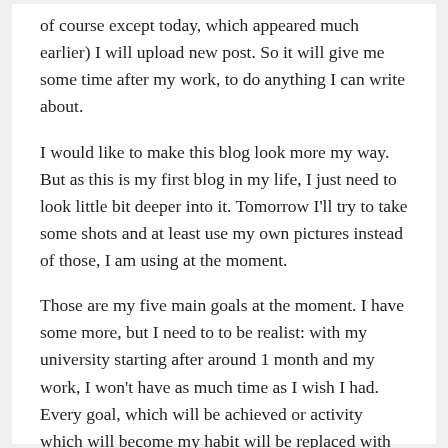of course except today, which appeared much earlier) I will upload new post. So it will give me some time after my work, to do anything I can write about.
I would like to make this blog look more my way. But as this is my first blog in my life, I just need to look little bit deeper into it. Tomorrow I'll try to take some shots and at least use my own pictures instead of those, I am using at the moment.
Those are my five main goals at the moment. I have some more, but I need to to be realist: with my university starting after around 1 month and my work, I won't have as much time as I wish I had. Every goal, which will be achieved or activity which will become my habit will be replaced with next one.